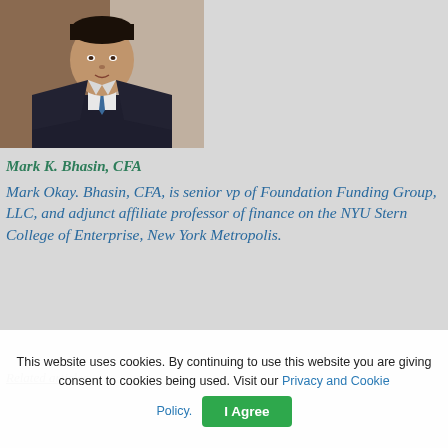[Figure (photo): Professional headshot of a man in a dark suit and blue tie against a brownish background]
Mark K. Bhasin, CFA
Mark Okay. Bhasin, CFA, is senior vp of Foundation Funding Group, LLC, and adjunct affiliate professor of finance on the NYU Stern College of Enterprise, New York Metropolis.
Related articles
This website uses cookies. By continuing to use this website you are giving consent to cookies being used. Visit our Privacy and Cookie Policy.